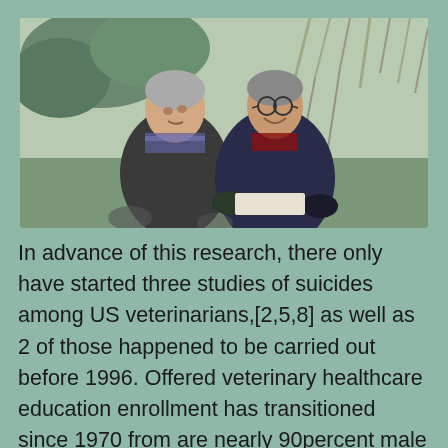[Figure (photo): Two older men outdoors in winter clothing, smiling and talking, with bare trees in the background. One man appears to be in a wheelchair.]
In advance of this research, there only have started three studies of suicides among US veterinarians,[2,5,8] as well as 2 of those happened to be carried out before 1996. Offered veterinary healthcare education enrollment has transitioned since 1970 from are nearly 90percent male to around 80% female [9] these reports may not determine the facts. This might be specially pertinent when